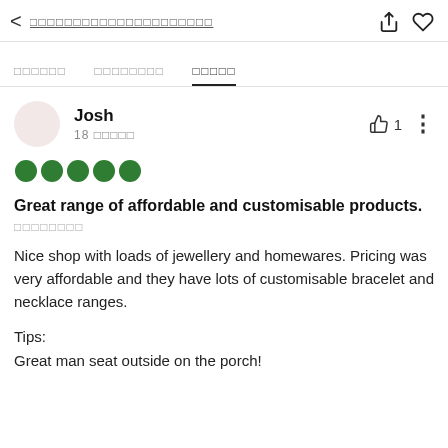< □□□□□□□□□□□□□□□□□□□□□
□□□□□□   □□□□□□□□   □□□□□
Josh
18 □□□□□
[Figure (other): Five green filled circles representing a 5-star rating]
Great range of affordable and customisable products.
□□□□□□□□
Nice shop with loads of jewellery and homewares. Pricing was very affordable and they have lots of customisable bracelet and necklace ranges.
Tips:
Great man seat outside on the porch!